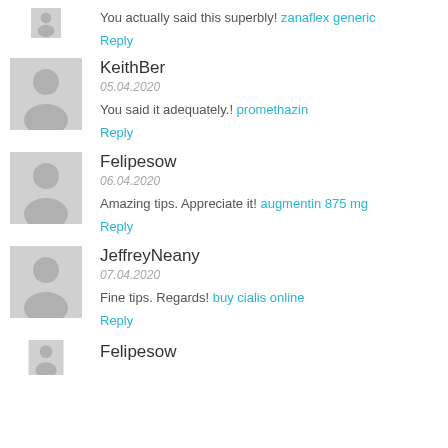You actually said this superbly! zanaflex generic
Reply
KeithBer
05.04.2020
You said it adequately.! promethazin
Reply
Felipesow
06.04.2020
Amazing tips. Appreciate it! augmentin 875 mg
Reply
JeffreyNeany
07.04.2020
Fine tips. Regards! buy cialis online
Reply
Felipesow